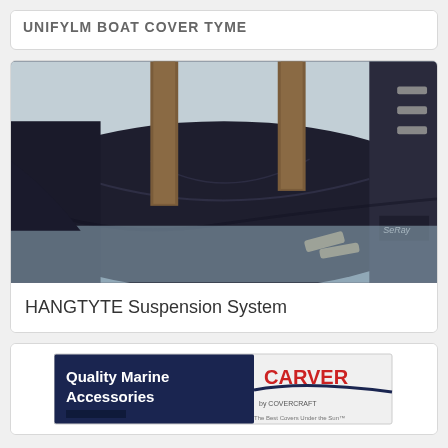[Figure (photo): Partial view of a product card top with truncated bold text label]
[Figure (photo): Photo of a dark navy boat cover (HANGTYTE Suspension System) draped over a boat at a dock, with wooden dock pilings and water visible in the background. The Sea Ray brand logo is visible on the right.]
HANGTYTE Suspension System
[Figure (photo): Partial product card showing a Carver 'Quality Marine Accessories' product packaging image at the bottom of the page.]